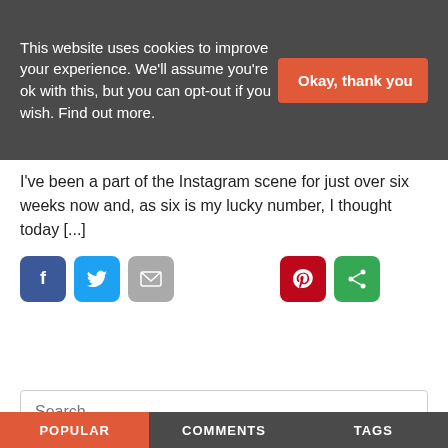This website uses cookies to improve your experience. We'll assume you're ok with this, but you can opt-out if you wish. Find out more.
Okay, thank you
I've been a part of the Instagram scene for just over six weeks now and, as six is my lucky number, I thought today [...]
[Figure (infographic): Social share buttons: Facebook (blue), Twitter (light blue), Email (grey), Pinterest (red), Share (green)]
Search . . .
POPULAR
COMMENTS
TAGS